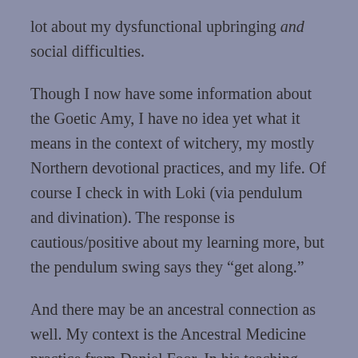lot about my dysfunctional upbringing and social difficulties.
Though I now have some information about the Goetic Amy, I have no idea yet what it means in the context of witchery, my mostly Northern devotional practices, and my life. Of course I check in with Loki (via pendulum and divination). The response is cautious/positive about my learning more, but the pendulum swing says they “get along.”
And there may be an ancestral connection as well. My context is the Ancestral Medicine practice from Daniel Foor. In his teaching, one of the discoveries we can make about our lineages are the spiritual traditions which were/are important for those